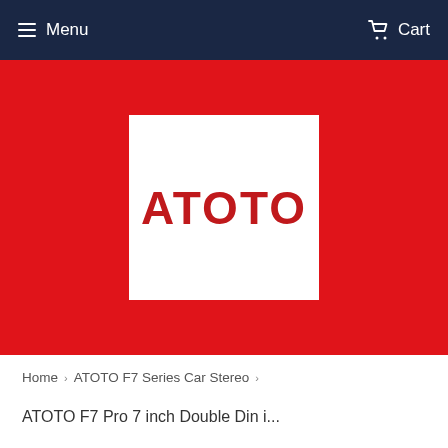Menu  Cart
[Figure (logo): ATOTO brand logo — white box with red ATOTO text on red background hero banner]
Home › ATOTO F7 Series Car Stereo ›
ATOTO F7 Pro 7 inch Double Din i...